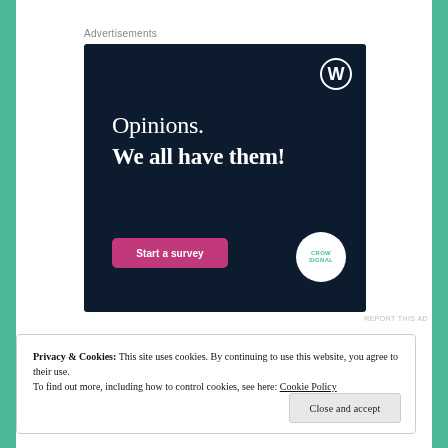Advertisements
[Figure (illustration): WordPress/Crowdsignal advertisement on dark navy background. Large white serif text reads 'Opinions. We all have them!' with a pink 'Start a survey' button and Crowdsignal circular logo. WordPress logo in top-right corner.]
REPORT THIS AD
Privacy & Cookies: This site uses cookies. By continuing to use this website, you agree to their use.
To find out more, including how to control cookies, see here: Cookie Policy
Close and accept